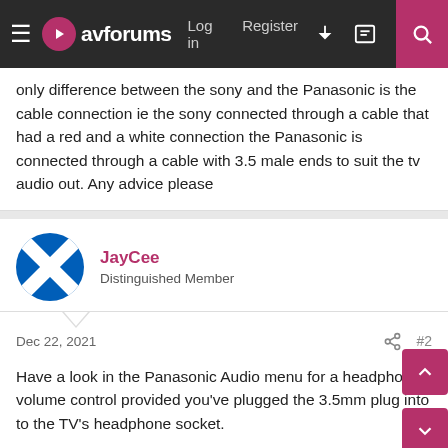avforums — Log in  Register
only difference between the sony and the Panasonic is the cable connection ie the sony connected through a cable that had a red and a white connection the Panasonic is connected through a cable with 3.5 male ends to suit the tv audio out. Any advice please
JayCee
Distinguished Member
Dec 22, 2021  #2
Have a look in the Panasonic Audio menu for a headphone volume control provided you've plugged the 3.5mm plug into to the TV's headphone socket.
benrymnd
Standard Member